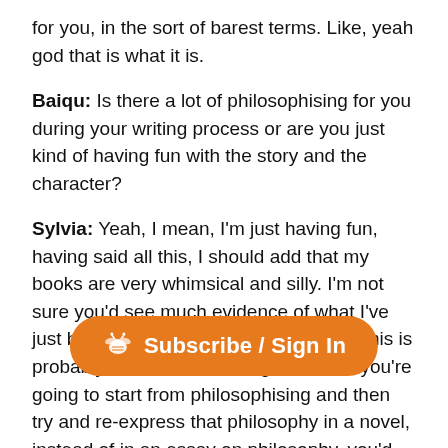for you, in the sort of barest terms. Like, yeah god that is what it is.
Baiqu: Is there a lot of philosophising for you during your writing process or are you just kind of having fun with the story and the character?
Sylvia: Yeah, I mean, I'm just having fun, having said all this, I should add that my books are very whimsical and silly. I'm not sure you'd see much evidence of what I've just been saying. But I think in general, this is probably true of adult writing as well. If you're going to start from philosophising and then try and re-express that philosophy in a novel, instead of in an essay on philosophy, you'd better be really exceptionally wise, because very few people h[...]s so earth shattering that tha[...] novelist. I think instead, most people are good at
[Figure (other): Subscribe / Sign In orange pill-shaped button overlay with a small icon]